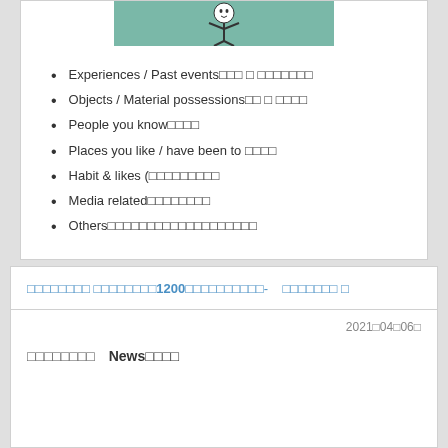[Figure (illustration): Illustration of a person with a speech bubble or gesture, teal/green background, black and white figure]
Experiences / Past events□□□ □ □□□□□□□
Objects / Material possessions□□ □ □□□□
People you know□□□□
Places you like / have been to □□□□
Habit & likes (□□□□□□□□□
Media related□□□□□□□□
Others□□□□□□□□□□□□□□□□□□□
□□□□□□□□ □□□□□□□□1200□□□□□□□□□□- □□□□□□□ □
2021□04□06□
□□□□□□□□　News□□□□